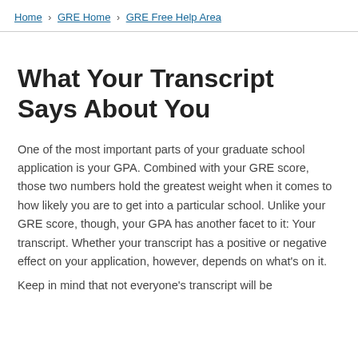Home › GRE Home › GRE Free Help Area
What Your Transcript Says About You
One of the most important parts of your graduate school application is your GPA. Combined with your GRE score, those two numbers hold the greatest weight when it comes to how likely you are to get into a particular school. Unlike your GRE score, though, your GPA has another facet to it: Your transcript. Whether your transcript has a positive or negative effect on your application, however, depends on what's on it.
Keep in mind that not everyone's transcript will be